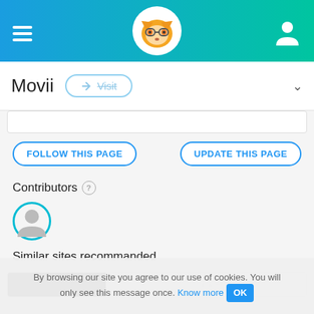[Figure (screenshot): Navigation header bar with hamburger menu on left, fox logo in center, profile icon on right, blue-to-teal gradient background]
Movii
Visit
FOLLOW THIS PAGE
UPDATE THIS PAGE
Contributors
[Figure (illustration): Circular contributor avatar icon with teal/blue ring]
Similar sites recommanded
[Figure (screenshot): Similar site row with black logo block on left and blurred site name on right]
By browsing our site you agree to our use of cookies. You will only see this message once. Know more OK